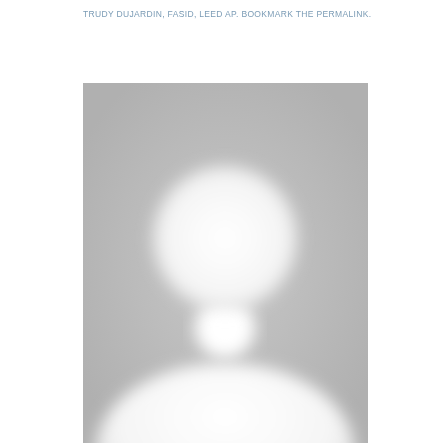TRUDY DUJARDIN, FASID, LEED AP. BOOKMARK THE PERMALINK.
[Figure (photo): Default avatar/placeholder image showing a generic grey silhouette of a person (head and shoulders) on a grey background]